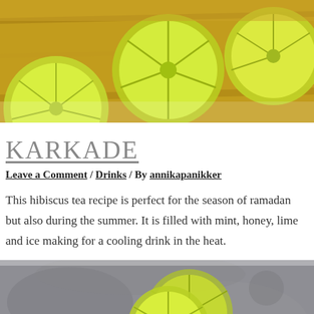[Figure (photo): Close-up photo of sliced green limes/citrus on a wooden cutting board with warm yellow-green tones]
KARKADE
Leave a Comment / Drinks / By annikapanikker
This hibiscus tea recipe is perfect for the season of ramadan but also during the summer. It is filled with mint, honey, lime and ice making for a cooling drink in the heat.
[Figure (photo): Close-up photo of sliced lime on a gray surface with a copper/gold straw, dark moody tones]